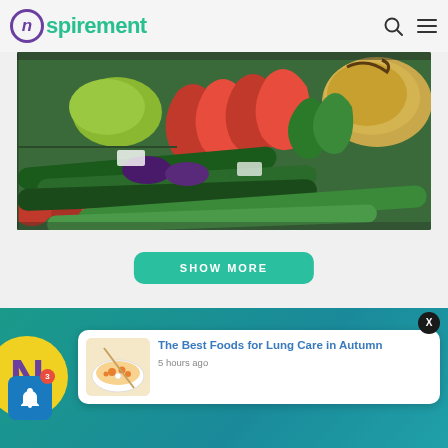Nspirement
[Figure (photo): Market vegetable display showing red peppers, zucchini, tomatoes, eggplant, and pumpkin arranged in crates]
SHOW MORE
[Figure (screenshot): Notification popup card showing 'The Best Foods for Lung Care in Autumn' article with soup image and '5 hours ago' timestamp, with X close button and bell notification icon with badge of 3]
The Best Foods for Lung Care in Autumn
5 hours ago